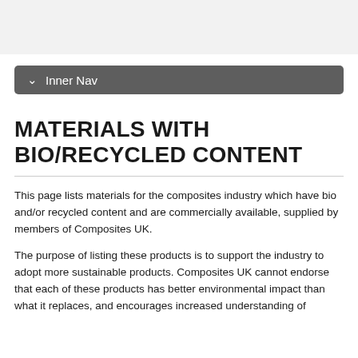Inner Nav
MATERIALS WITH BIO/RECYCLED CONTENT
This page lists materials for the composites industry which have bio and/or recycled content and are commercially available, supplied by members of Composites UK.
The purpose of listing these products is to support the industry to adopt more sustainable products. Composites UK cannot endorse that each of these products has better environmental impact than what it replaces, and encourages increased understanding of